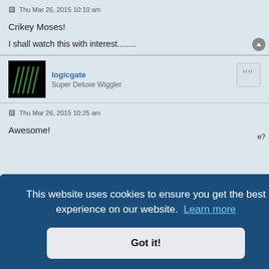Thu Mar 26, 2015 10:10 am
Crikey Moses!
I shall watch this with interest........
logicgate
Super Deluxe Wiggler
Thu Mar 26, 2015 10:25 am
Awesome!
This website uses cookies to ensure you get the best experience on our website. Learn more
Got it!
Silly question, probably, but is this designed to go behind a panel or sit,